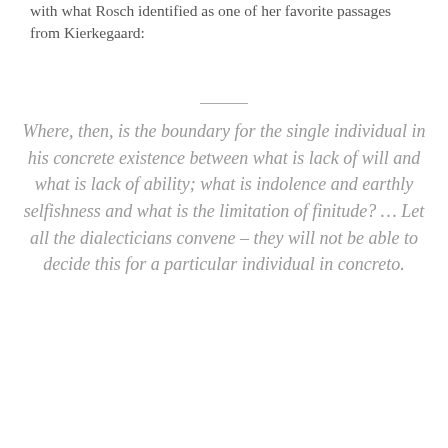with what Rosch identified as one of her favorite passages from Kierkegaard:
Where, then, is the boundary for the single individual in his concrete existence between what is lack of will and what is lack of ability; what is indolence and earthly selfishness and what is the limitation of finitude? … Let all the dialecticians convene – they will not be able to decide this for a particular individual in concreto.